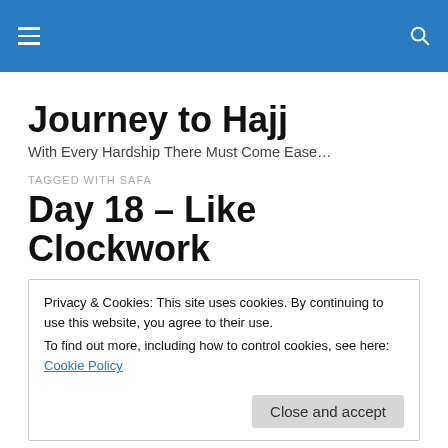Journey to Hajj (navigation bar)
Journey to Hajj
With Every Hardship There Must Come Ease…
TAGGED WITH SAFA
Day 18 – Like Clockwork
Privacy & Cookies: This site uses cookies. By continuing to use this website, you agree to their use.
To find out more, including how to control cookies, see here: Cookie Policy
Close and accept